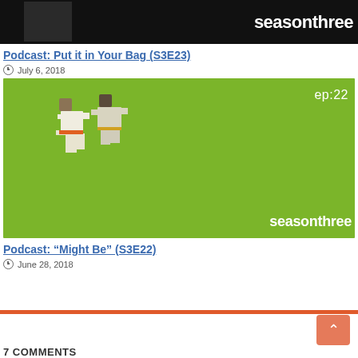[Figure (photo): Black background image with white text 'season three' and pixelated character fragment visible]
Podcast: Put it in Your Bag (S3E23)
July 6, 2018
[Figure (photo): Green background image with pixel art karate/judo fighters, text 'ep:22' top right, 'season three' bottom right]
Podcast: “Might Be” (S3E22)
June 28, 2018
7 COMMENTS